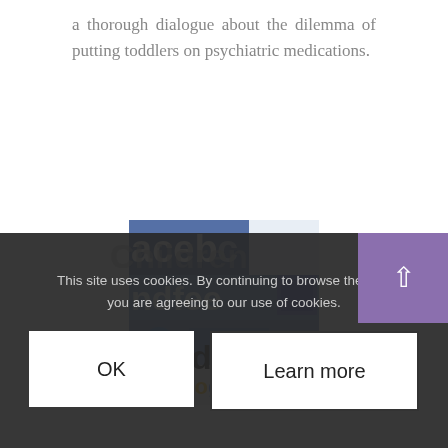a thorough dialogue about the dilemma of putting toddlers on psychiatric medications.
[Figure (screenshot): Partial screenshot showing social media logos including Facebook, and Google text visible, with blue color scheme]
Social Media Effects on Children
This site uses cookies. By continuing to browse the site, you are agreeing to our use of cookies.
OK
Learn more